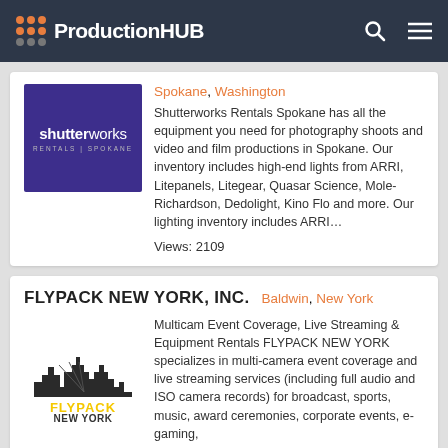ProductionHUB
[Figure (logo): Shutterworks Rentals Spokane logo - purple background with white text]
Spokane, Washington
Shutterworks Rentals Spokane has all the equipment you need for photography shoots and video and film productions in Spokane. Our inventory includes high-end lights from ARRI, Litepanels, Litegear, Quasar Science, Mole-Richardson, Dedolight, Kino Flo and more. Our lighting inventory includes ARRI...
Views: 2109
FLYPACK NEW YORK, INC.
Baldwin, New York
[Figure (logo): Flypack New York Inc logo with city skyline silhouette and yellow bold text]
Multicam Event Coverage, Live Streaming & Equipment Rentals FLYPACK NEW YORK specializes in multi-camera event coverage and live streaming services (including full audio and ISO camera records) for broadcast, sports, music, award ceremonies, corporate events, e-gaming,